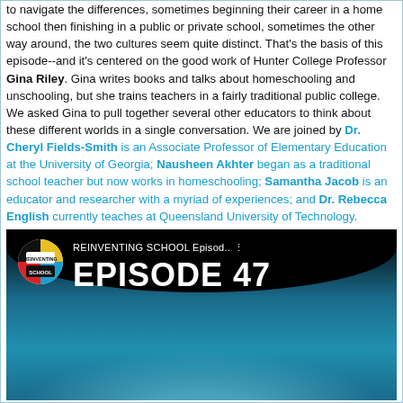to navigate the differences, sometimes beginning their career in a home school then finishing in a public or private school, sometimes the other way around, the two cultures seem quite distinct. That's the basis of this episode--and it's centered on the good work of Hunter College Professor Gina Riley. Gina writes books and talks about homeschooling and unschooling, but she trains teachers in a fairly traditional public college. We asked Gina to pull together several other educators to think about these different worlds in a single conversation. We are joined by Dr. Cheryl Fields-Smith is an Associate Professor of Elementary Education at the University of Georgia; Nausheen Akhter began as a traditional school teacher but now works in homeschooling; Samantha Jacob is an educator and researcher with a myriad of experiences; and Dr. Rebecca English currently teaches at Queensland University of Technology.
[Figure (screenshot): Video thumbnail for REINVENTING SCHOOL Episode 47 with logo and blue/black background showing a face in blue tones]